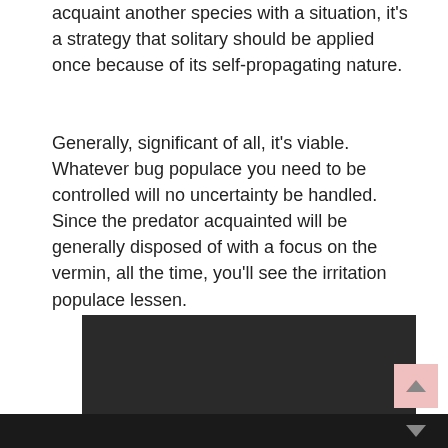acquaint another species with a situation, it's a strategy that solitary should be applied once because of its self-propagating nature.
Generally, significant of all, it's viable. Whatever bug populace you need to be controlled will no uncertainty be handled. Since the predator acquainted will be generally disposed of with a focus on the vermin, all the time, you'll see the irritation populace lessen.
[Figure (photo): Dark/black image panel, partially visible, with a pink scroll-to-top button in the bottom right corner and a dark footer bar.]